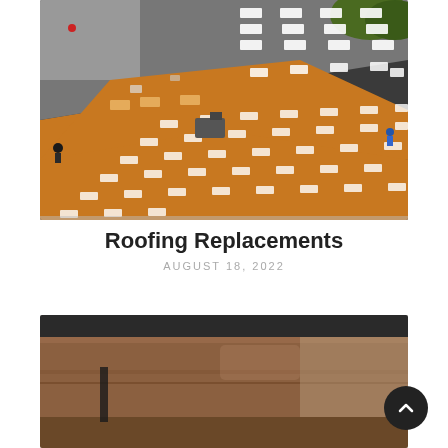[Figure (photo): Aerial drone view of a flat rooftop under construction or repair, showing workers, orange underlayment, and white shingle bundles arranged in rows on dark roofing material.]
Roofing Replacements
AUGUST 18, 2022
[Figure (photo): Partially visible close-up photograph of brown leather furniture (possibly a couch or chair) with a blurred background.]